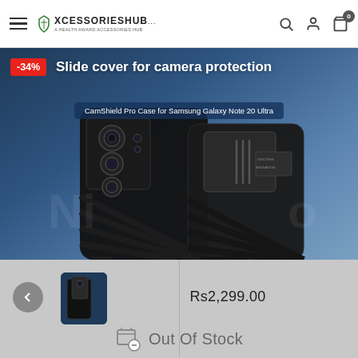XCESSORIESHUB — A HEALTH AWARD ACCESSORIES HUB
[Figure (photo): Product banner showing CamShield Pro Case for Samsung Galaxy Note 20 Ultra with slide cover mechanism. Text reads: Slide cover for camera protection. Subtitle pill: CamShield Pro Case for Samsung Galaxy Note 20 Ultra. Red badge: -34%. Dark blue gradient background with phone case product photography.]
[Figure (photo): Thumbnail of CamShield Pro Case for Samsung Galaxy Note 20 Ultra, dark navy blue color.]
Rs2,299.00
Out Of Stock